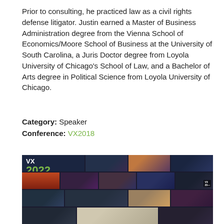Prior to consulting, he practiced law as a civil rights defense litigator. Justin earned a Master of Business Administration degree from the Vienna School of Economics/Moore School of Business at the University of South Carolina, a Juris Doctor degree from Loyola University of Chicago's School of Law, and a Bachelor of Arts degree in Political Science from Loyola University of Chicago.
Category: Speaker
Conference: VX2018
[Figure (photo): Photo collage of conference VX 2022 (VerdeXchange) showing multiple panels and speakers at the Los Angeles conference event.]